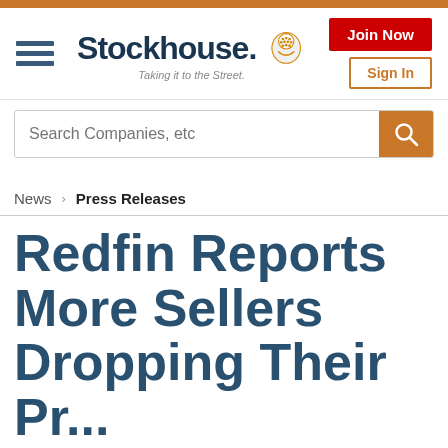Stockhouse — Taking it to the Street.
Search Companies, etc
News > Press Releases
Redfin Reports More Sellers Dropping Their Prices...